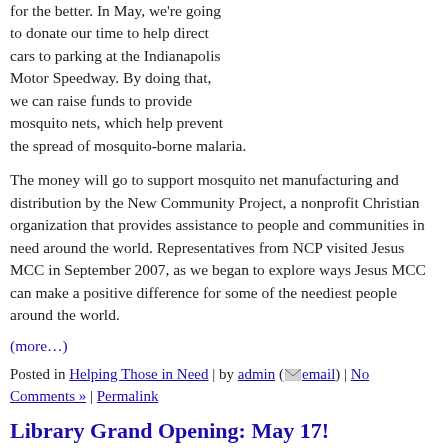for the better. In May, we're going to donate our time to help direct cars to parking at the Indianapolis Motor Speedway. By doing that, we can raise funds to provide mosquito nets, which help prevent the spread of mosquito-borne malaria.
The money will go to support mosquito net manufacturing and distribution by the New Community Project, a nonprofit Christian organization that provides assistance to people and communities in need around the world. Representatives from NCP visited Jesus MCC in September 2007, as we began to explore ways Jesus MCC can make a positive difference for some of the neediest people around the world.
(more…)
Posted in Helping Those in Need | by admin (email) | No Comments » | Permalink
Library Grand Opening: May 17!
Friday, May 2nd, 2008